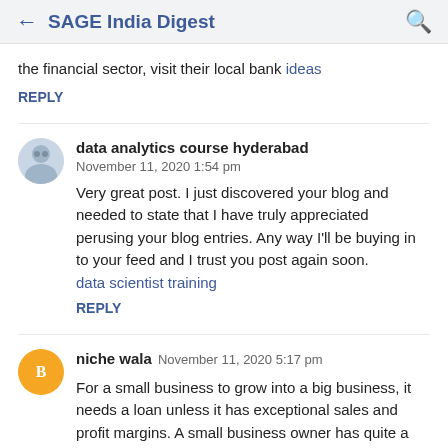← SAGE India Digest 🔍
the financial sector, visit their local bank ideas
REPLY
data analytics course hyderabad
November 11, 2020 1:54 pm

Very great post. I just discovered your blog and needed to state that I have truly appreciated perusing your blog entries. Any way I'll be buying in to your feed and I trust you post again soon.
data scientist training
REPLY
niche wala  November 11, 2020 5:17 pm

For a small business to grow into a big business, it needs a loan unless it has exceptional sales and profit margins. A small business owner has quite a few places where